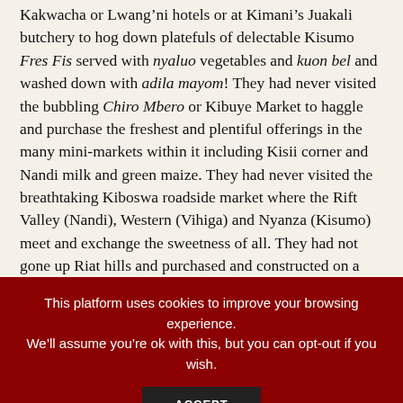Kakwacha or Lwang'ni hotels or at Kimani's Juakali butchery to hog down platefuls of delectable Kisumo Fres Fis served with nyaluo vegetables and kuon bel and washed down with adila mayom! They had never visited the bubbling Chiro Mbero or Kibuye Market to haggle and purchase the freshest and plentiful offerings in the many mini-markets within it including Kisii corner and Nandi milk and green maize. They had never visited the breathtaking Kiboswa roadside market where the Rift Valley (Nandi), Western (Vihiga) and Nyanza (Kisumo) meet and exchange the sweetness of all. They had not gone up Riat hills and purchased and constructed on a ka-plot that gives –free of charge– the fulfilling and uninterrupted view of the lake all the way to Homa Bay
This platform uses cookies to improve your browsing experience. We'll assume you're ok with this, but you can opt-out if you wish.